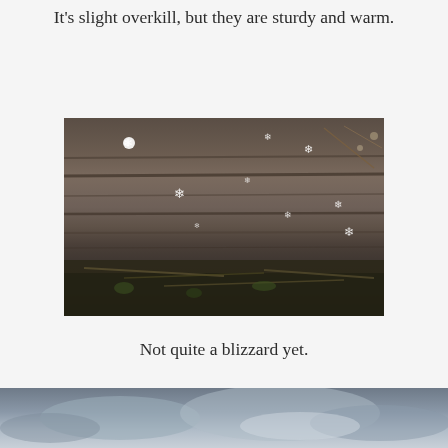It’s slight overkill, but they are sturdy and warm.
[Figure (photo): Close-up photo of snowflakes on a weathered wooden surface with twigs and dried plant matter visible below.]
Not quite a blizzard yet.
[Figure (photo): Photo of a cloudy sky, partially visible at the bottom of the page.]